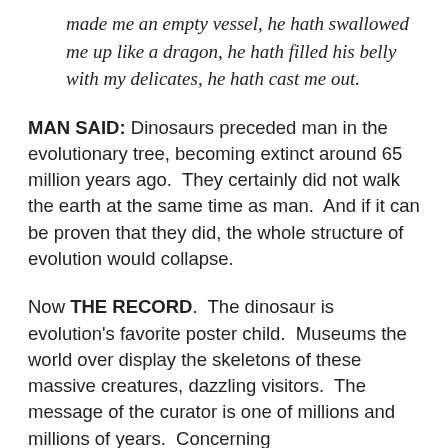made me an empty vessel, he hath swallowed me up like a dragon, he hath filled his belly with my delicates, he hath cast me out.
MAN SAID: Dinosaurs preceded man in the evolutionary tree, becoming extinct around 65 million years ago.  They certainly did not walk the earth at the same time as man.  And if it can be proven that they did, the whole structure of evolution would collapse.
Now THE RECORD.  The dinosaur is evolution's favorite poster child.  Museums the world over display the skeletons of these massive creatures, dazzling visitors.  The message of the curator is one of millions and millions of years.  Concerning